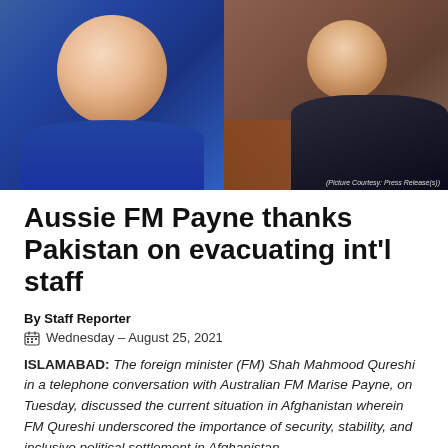[Figure (photo): Two photos side by side: left shows a woman in a blue blazer (Australian FM Marise Payne), right shows a man in a dark suit with yellow tie seated at a desk (FM Shah Mahmood Qureshi). Photo credit: Picture Courtesy: Press Release(s)]
Aussie FM Payne thanks Pakistan on evacuating int'l staff
By Staff Reporter
Wednesday – August 25, 2021
ISLAMABAD: The foreign minister (FM) Shah Mahmood Qureshi in a telephone conversation with Australian FM Marise Payne, on Tuesday, discussed the current situation in Afghanistan wherein FM Qureshi underscored the importance of security, stability, and inclusive political settlement in Afghanistan.
According to a press release, he added that it is essential for the